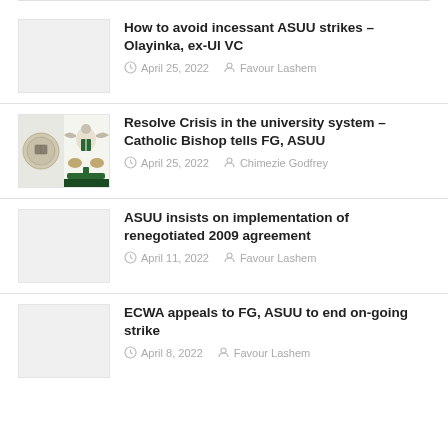How to avoid incessant ASUU strikes – Olayinka, ex-UI VC | April 25, 2022 | Favour Lashem
Resolve Crisis in the university system – Catholic Bishop tells FG, ASUU | April 25, 2022 | Chimezie Godfrey
ASUU insists on implementation of renegotiated 2009 agreement | April 11, 2022 | Favour Lashem
ECWA appeals to FG, ASUU to end on-going strike | April 8, 2022 | Favour Lashem